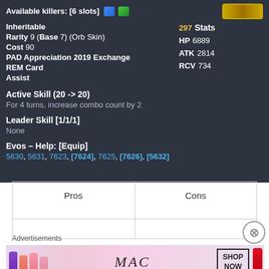Available killers: [6 slots]
Inheritable
Rarity 9 (Base 7) (Orb Skin)
Cost 90
PAD Appreciation 2019 Exchange
REM Card
Assist
297 Stats
HP 6889
ATK 2814
RCV 734
Active Skill (20 -> 20)
For 4 turns, increase combo count by 2
Leader Skill [1/1/1]
None
Evos – Help: [Equip]
5630, 5631, 7623, [7624], 7625, [7626], [5632]
| Pros | Cons |
| --- | --- |
|  |  |
Advertisements
[Figure (illustration): MAC cosmetics advertisement with lipsticks and SHOP NOW button]